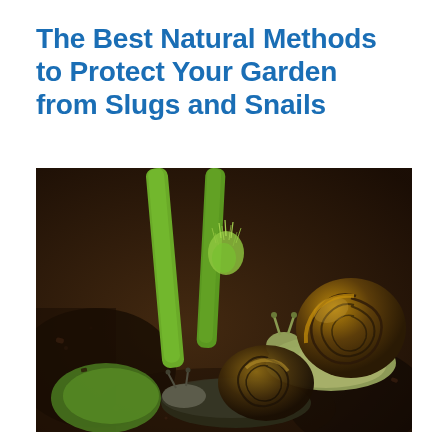The Best Natural Methods to Protect Your Garden from Slugs and Snails
[Figure (photo): Close-up photograph of two snails on green plant stems in a garden, with soil visible in the background. One snail has a brown spiral shell and is climbing the stem, while another darker snail is at the base.]